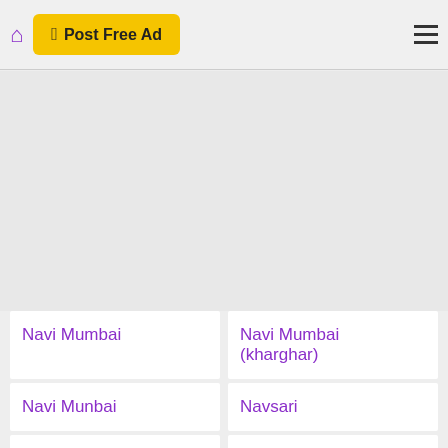Post Free Ad
Navi Mumbai
Navi Mumbai (kharghar)
Navi Munbai
Navsari
Nawalgarh
Nawanshahr